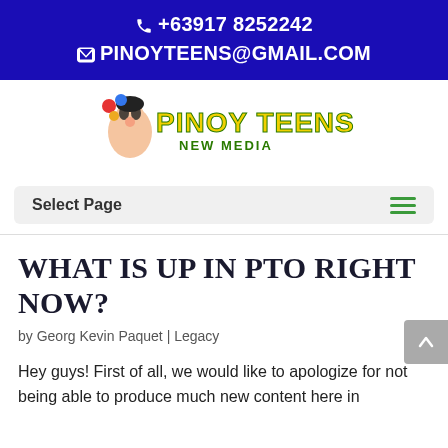+63917 8252242 PINOYTEENS@GMAIL.COM
[Figure (logo): Pinoy Teens New Media logo with cartoon character illustration]
Select Page
WHAT IS UP IN PTO RIGHT NOW?
by Georg Kevin Paquet | Legacy
Hey guys! First of all, we would like to apologize for not being able to produce much new content here in